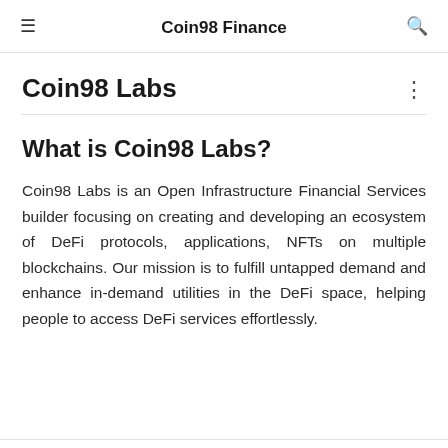Coin98 Finance
Coin98 Labs
What is Coin98 Labs?
Coin98 Labs is an Open Infrastructure Financial Services builder focusing on creating and developing an ecosystem of DeFi protocols, applications, NFTs on multiple blockchains. Our mission is to fulfill untapped demand and enhance in-demand utilities in the DeFi space, helping people to access DeFi services effortlessly.